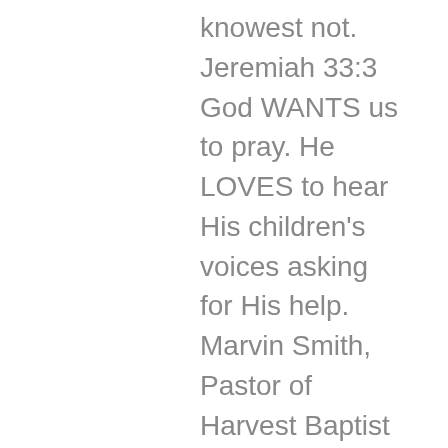knowest not. Jeremiah 33:3 God WANTS us to pray. He LOVES to hear His children's voices asking for His help. Marvin Smith, Pastor of Harvest Baptist Church said, “It’s as though God is in the unemployment line waiting to be put to work, but we don’t ask Him for help!” We are just too busy and esteem other things more important than fellowship with God. I have the same trouble also. When I sit down at my desk at the church it